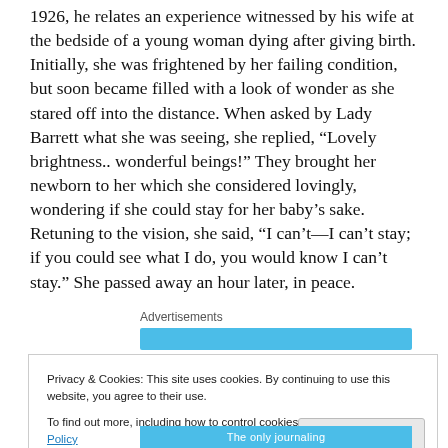1926, he relates an experience witnessed by his wife at the bedside of a young woman dying after giving birth. Initially, she was frightened by her failing condition, but soon became filled with a look of wonder as she stared off into the distance. When asked by Lady Barrett what she was seeing, she replied, “Lovely brightness.. wonderful beings!” They brought her newborn to her which she considered lovingly, wondering if she could stay for her baby’s sake. Retuning to the vision, she said, “I can’t—I can’t stay; if you could see what I do, you would know I can’t stay.” She passed away an hour later, in peace.
Advertisements
[Figure (other): Blue advertisement bar]
Privacy & Cookies: This site uses cookies. By continuing to use this website, you agree to their use.
To find out more, including how to control cookies, see here: Cookie Policy
[Figure (other): Bottom blue advertisement bar with text 'The only journaling']